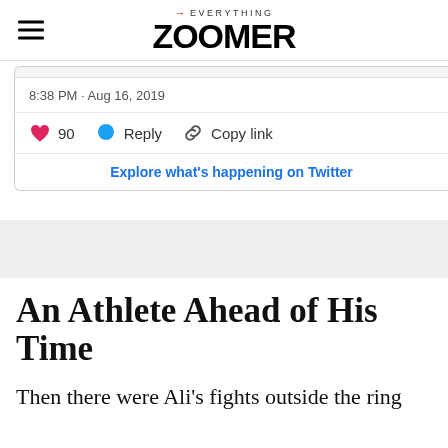→EVERYTHING ZOOMER
[Figure (screenshot): Twitter embed card showing timestamp '8:38 PM · Aug 16, 2019', 90 likes, Reply and Copy link actions, and 'Explore what's happening on Twitter' button]
An Athlete Ahead of His Time
Then there were Ali's fights outside the ring